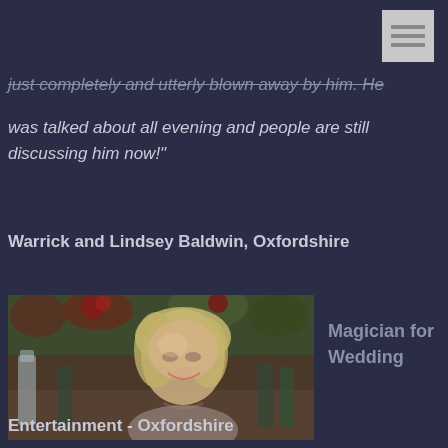[Figure (logo): Small grey icon with horizontal lines, top right corner]
just completely and utterly blown away by him. He was talked about all evening and people are still discussing him now!"
Warrick and Lindsey Baldwin, Oxfordshire
[Figure (photo): Photo of a smiling middle-aged woman with blonde hair sitting at a festive dinner table with decorations and bottles in the background]
Magician for Wedding
Entertainment - Oxfordshire